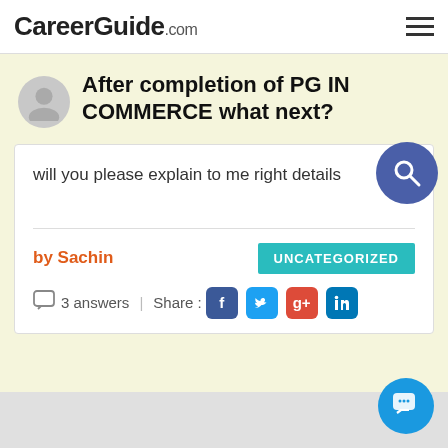CareerGuide.com
After completion of PG IN COMMERCE what next?
will you please explain to me right details
by Sachin
UNCATEGORIZED
3 answers | Share :